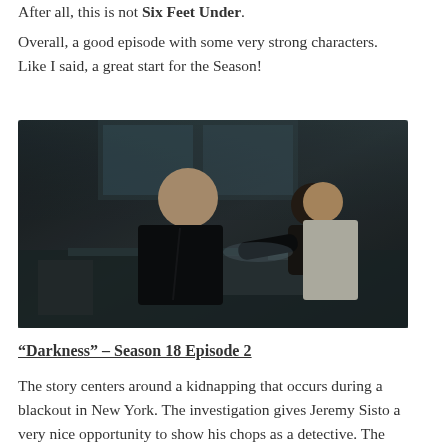After all, this is not Six Feet Under.
Overall, a good episode with some very strong characters. Like I said, a great start for the Season!
[Figure (photo): A dark, dimly lit scene showing three people in what appears to be an office or lab setting. A young man in a dark coat is leaning forward, with a man in the background and a woman in a white dress to the right.]
“Darkness” – Season 18 Episode 2
The story centers around a kidnapping that occurs during a blackout in New York. The investigation gives Jeremy Sisto a very nice opportunity to show his chops as a detective. The man can definitely sprint with the best of